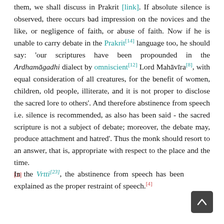them, we shall discuss in Prakrit [link]. If absolute silence is observed, there occurs bad impression on the novices and the like, or negligence of faith, or abuse of faith. Now if he is unable to carry debate in the Prakrit[14] language too, he should say: 'our scriptures have been propounded in the Ardhamāgadhi dialect by omniscient[12] Lord Mahāvīra[8], with equal consideration of all creatures, for the benefit of women, children, old people, illiterate, and it is not proper to disclose the sacred lore to others'. And therefore abstinence from speech i.e. silence is recommended, as also has been said - the sacred scripture is not a subject of debate; moreover, the debate may, produce attachment and hatred'. Thus the monk should resort to an answer, that is, appropriate with respect to the place and the time. [3]
In the Vrtti[23], the abstinence from speech has been explained as the proper restraint of speech.[4]